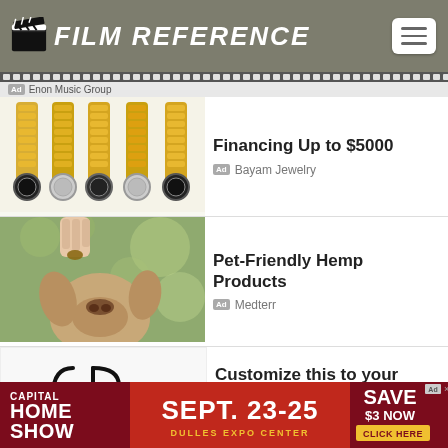FILM REFERENCE
Ad Enon Music Group
[Figure (photo): Gold chain link watches/bracelets displayed in a row]
Financing Up to $5000
Ad Bayam Jewelry
[Figure (photo): Dog sniffing a hand outdoors with green bokeh background]
Pet-Friendly Hemp Products
Ad Medterr
[Figure (logo): Danyal Paraiba brand logo with stylized cP monogram]
Customize this to your taste
Ad Danyal Paraiba
[Figure (infographic): Capital Home Show advertisement banner: SEPT. 23-25, DULLES EXPO CENTER, SAVE $3 NOW, CLICK HERE]